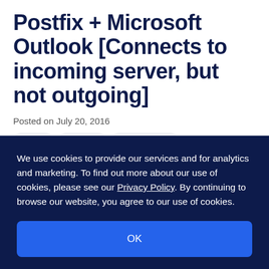Postfix + Microsoft Outlook [Connects to incoming server, but not outgoing]
Posted on July 20, 2016
Email
Apache
Let's Encrypt
We use cookies to provide our services and for analytics and marketing. To find out more about our use of cookies, please see our Privacy Policy. By continuing to browse our website, you agree to our use of cookies.
OK